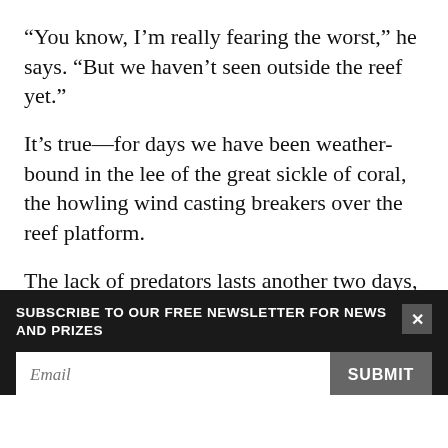“You know, I’m really fearing the worst,” he says. “But we haven’t seen outside the reef yet.”
It’s true—for days we have been weather-bound in the lee of the great sickle of coral, the howling wind casting breakers over the reef platform.
The lack of predators lasts another two days, the ecologist growing quieter as time ticks away, his observations departing further and further from his 2012 data. I swear he’s changing colour—going pale
SUBSCRIBE TO OUR FREE NEWSLETTER FOR NEWS AND PRIZES
Could it be that New Caledonia, a territory with the world’s second-largest marine park, within which lie